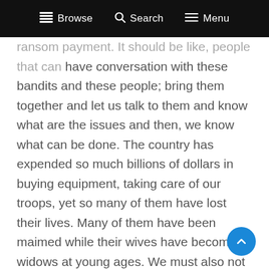Browse  Search  Menu
ransom payment. It should be like, people that can have conversation with these bandits and these people; bring them together and let us talk to them and know what are the issues and then, we know what can be done. The country has expended so much billions of dollars in buying equipment, taking care of our troops, yet so many of them have lost their lives. Many of them have been maimed while their wives have become widows at young ages. We must also not forget that some of those that have died are women who served their fatherland thereby making their husbands, widowers. Children have lost their parents and this is vice versa. Also, several villages have been sacked and for me, the right thing to do, is to apply the